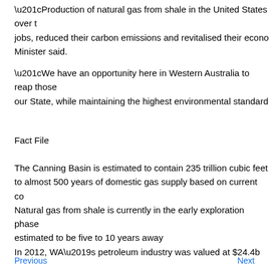“Production of natural gas from shale in the United States over t jobs, reduced their carbon emissions and revitalised their econo Minister said.
“We have an opportunity here in Western Australia to reap those our State, while maintaining the highest environmental standard
Fact File
The Canning Basin is estimated to contain 235 trillion cubic feet to almost 500 years of domestic gas supply based on current co Natural gas from shale is currently in the early exploration phase estimated to be five to 10 years away
In 2012, WA’s petroleum industry was valued at $24.4b
Previous   Next